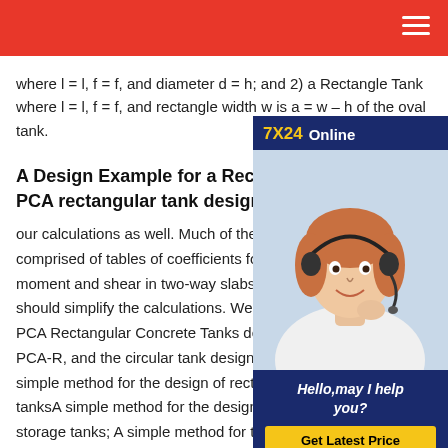where l = l, f = f, and diameter d = h; and 2) a Rectangle Tank where l = l, f = f, and rectangle width w is a = w - h of the oval tank.
A Design Example for a Rectangular C PCA rectangular tank design calculat
our calculations as well. Much of the PC comprised of tables of coefficients for c moment and shear in two-way slabs. T should simplify the calculations. We wil PCA Rectangular Concrete Tanks design manual as PCA-R, and the circular tank design manual as PCA-C. A simple method for the design of rectangular storage tanks A simple method for the design of rectangular storage tanks; A simple method for the design of rectangular storage tanks. Title A simple method for the
[Figure (photo): Advertisement showing a customer service representative with headset. Dark blue background with '7X24 Online' header in yellow/white text. Below the photo: 'Hello, may I help you?' text and a yellow 'Get Latest Price' button.]